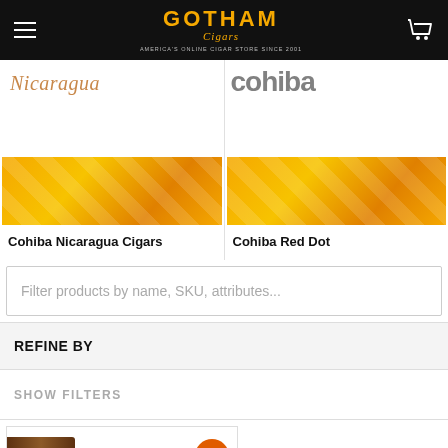Gotham Cigars - America's Online Cigar Store Since 2001
[Figure (photo): Cohiba Nicaragua Cigars product card with script Nicaragua text and yellow/orange striped band]
Cohiba Nicaragua Cigars
[Figure (photo): Cohiba Red Dot product card with bold text logo and yellow/orange striped band]
Cohiba Red Dot
Filter products by name, SKU, attributes...
REFINE BY
SHOW FILTERS
[Figure (photo): Cohiba cigar product image with cigar and metal tin, showing rating badge 87]